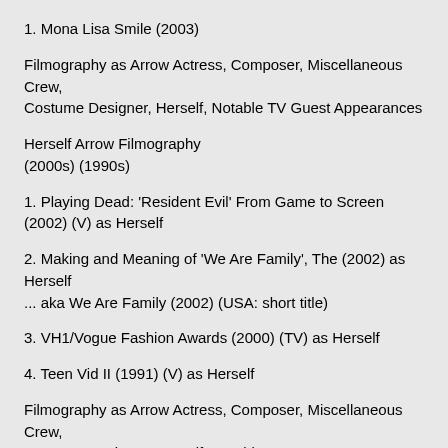1. Mona Lisa Smile (2003)
Filmography as Arrow Actress, Composer, Miscellaneous Crew, Costume Designer, Herself, Notable TV Guest Appearances
Herself Arrow Filmography
(2000s) (1990s)
1. Playing Dead: 'Resident Evil' From Game to Screen (2002) (V) as Herself
2. Making and Meaning of 'We Are Family', The (2002) as Herself
... aka We Are Family (2002) (USA: short title)
3. VH1/Vogue Fashion Awards (2000) (TV) as Herself
4. Teen Vid II (1991) (V) as Herself
Filmography as Arrow Actress, Composer, Miscellaneous Crew, Costume Designer, Herself, Notable TV Guest Appearances
Notable TV Guest Appearances
1. "4Pop" playing "Herself" in episode: "Nuo surkeat Hollywood-pelit"